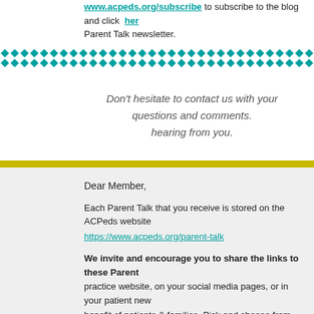www.acpeds.org/subscribe to subscribe to the blog and click her Parent Talk newsletter.
[Figure (illustration): Decorative teal diamond/dot pattern border divider]
Don't hesitate to contact us with your questions and comments. hearing from you.
Dear Member,
Each Parent Talk that you receive is stored on the ACPeds website https://www.acpeds.org/parent-talk
We invite and encourage you to share the links to these Parent practice website, on your social media pages, or in your patient new benefit of patients & families. Pick and choose from the list of topics
Thank you for helping us share information that serves the b
Stay Connected
[Figure (illustration): Social media icons: Facebook, Twitter, LinkedIn]